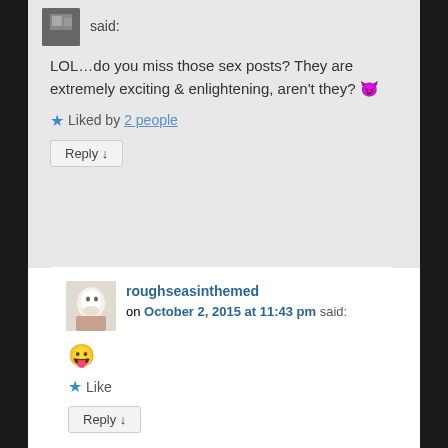said:
LOL…do you miss those sex posts? They are extremely exciting & enlightening, aren't they? 😈
★ Liked by 2 people
Reply ↓
roughseasinthemed on October 2, 2015 at 11:43 pm said:
😛
★ Like
Reply ↓